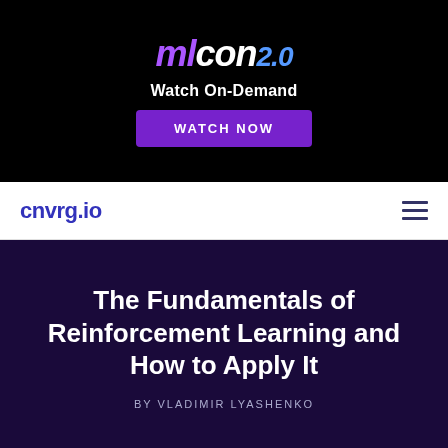[Figure (logo): MLcon 2.0 logo with ml in purple italic, con in white italic, 2.0 in blue italic]
Watch On-Demand
WATCH NOW
cnvrg.io
The Fundamentals of Reinforcement Learning and How to Apply It
BY VLADIMIR LYASHENKO
[Figure (photo): Circular avatar photo of Vladimir Lyashenko, partially visible at bottom of page]